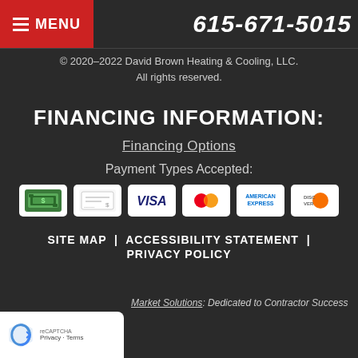MENU | 615-671-5015
© 2020–2022 David Brown Heating & Cooling, LLC. All rights reserved.
FINANCING INFORMATION:
Financing Options
Payment Types Accepted:
[Figure (illustration): Six payment method icons: Cash, Check, Visa, Mastercard, American Express, Discover]
SITE MAP  |  ACCESSIBILITY STATEMENT  |  PRIVACY POLICY
Market Solutions: Dedicated to Contractor Success
Privacy - Terms